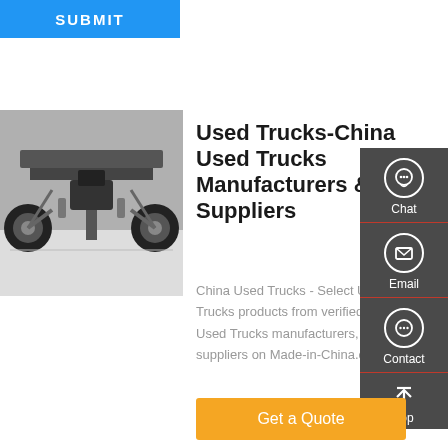[Figure (other): Blue SUBMIT button at top left]
[Figure (photo): Underside/chassis view of a truck showing axles, suspension, and drivetrain components from below]
Used Trucks-China Used Trucks Manufacturers & Suppliers
China Used Trucks - Select Used Trucks products from verified China Used Trucks manufacturers, suppliers on Made-in-China.com.
[Figure (other): Right sidebar with Chat, Email, Contact, and Top navigation icons on dark gray background]
[Figure (other): Orange Get a Quote button]